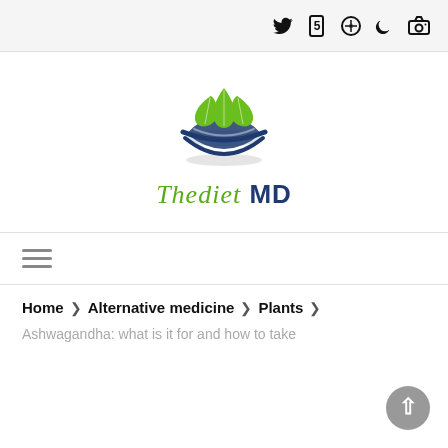Social icons bar (Twitter, 5, compass/bookmark, moon, camera)
[Figure (logo): Thediet MD logo: a dark blue bowl with green leaves on top, with text 'Thediet MD' below in green italic and dark blue bold]
hamburger menu navigation bar
Home > Alternative medicine > Plants >
Ashwagandha: what is it for and how to take